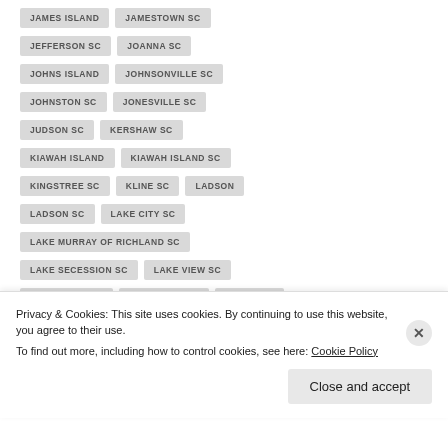JAMES ISLAND
JAMESTOWN SC
JEFFERSON SC
JOANNA SC
JOHNS ISLAND
JOHNSONVILLE SC
JOHNSTON SC
JONESVILLE SC
JUDSON SC
KERSHAW SC
KIAWAH ISLAND
KIAWAH ISLAND SC
KINGSTREE SC
KLINE SC
LADSON
LADSON SC
LAKE CITY SC
LAKE MURRAY OF RICHLAND SC
LAKE SECESSION SC
LAKE VIEW SC
LAKE WYLIE SC
LAKEWOOD SC
LAMAR SC
Privacy & Cookies: This site uses cookies. By continuing to use this website, you agree to their use. To find out more, including how to control cookies, see here: Cookie Policy
Close and accept